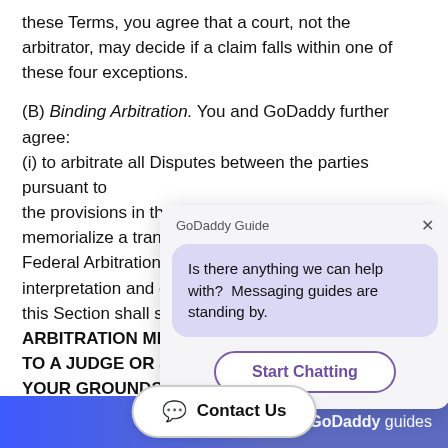these Terms, you agree that a court, not the arbitrator, may decide if a claim falls within one of these four exceptions.
(B) Binding Arbitration. You and GoDaddy further agree: (i) to arbitrate all Disputes between the parties pursuant to the provisions in the [section] memorialize a trans[action under the] Federal Arbitration A[ct governing] interpretation and e[nforcement of] this Section shall su[rvive. BINDING] ARBITRATION MEA[NS YOU GIVE UP THE RIGHT] TO A JUDGE OR J[URY AND LIMITS] YOUR GROUNDS [FOR APPEAL. The] arbitrator may awar[d the same damages as a court] sitting in proper juris[diction, subject to the Limitation of] Liability set forth in Section 19 of this Agreement and may award declaratory or injunctive relief [only in favor of the] individual party seeking relief and only to the extent [necessary to provide relief warranted by that party's]
[Figure (screenshot): GoDaddy Guide chat widget overlay showing a message bubble 'Is there anything we can help with? Messaging guides are standing by.' with a 'Start Chatting' button, and a GoDaddy guides bar at the bottom with a 'Contact Us' button.]